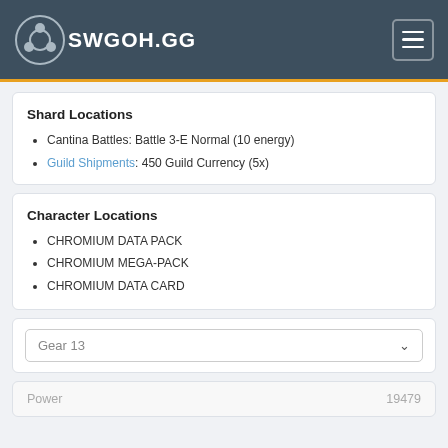SWGOH.GG
Shard Locations
Cantina Battles: Battle 3-E Normal (10 energy)
Guild Shipments: 450 Guild Currency (5x)
Character Locations
CHROMIUM DATA PACK
CHROMIUM MEGA-PACK
CHROMIUM DATA CARD
Gear 13
Power  19479